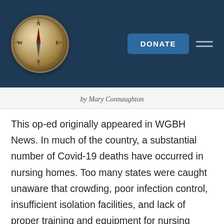[Figure (logo): Compass logo on dark navy header bar with Donate button and hamburger menu icon]
by Mary Connaughton
This op-ed originally appeared in WGBH News. In much of the country, a substantial number of Covid-19 deaths have occurred in nursing homes. Too many states were caught unaware that crowding, poor infection control, insufficient isolation facilities, and lack of proper training and equipment for nursing home workers would create petri dishes for Covid’s destruction. As of now, this lack of preparation accounts for 24,000, or over one-third, of Covid-related deaths nationally. We